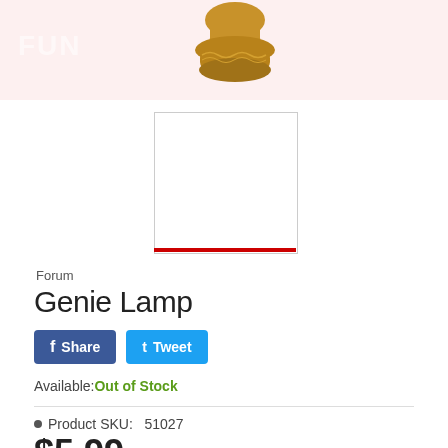[Figure (photo): Top portion of a golden genie lamp prop against a light pink/white background, with a partially visible logo reading 'FUN' in white on the left side]
[Figure (screenshot): Small thumbnail image box outlined with a thin gray border and a red underline, showing an empty white area (product thumbnail placeholder)]
Forum
Genie Lamp
Share
Tweet
Available: Out of Stock
Product SKU:   51027
$5.99